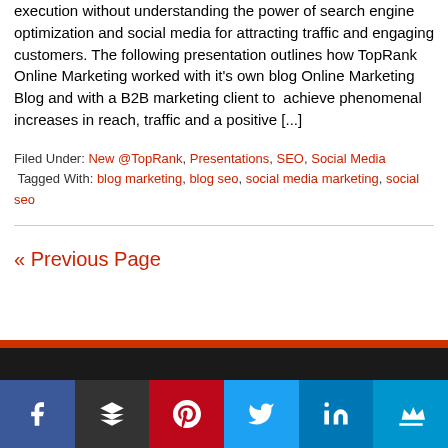execution without understanding the power of search engine optimization and social media for attracting traffic and engaging customers. The following presentation outlines how TopRank Online Marketing worked with it's own blog Online Marketing Blog and with a B2B marketing client to  achieve phenomenal increases in reach, traffic and a positive [...]
Filed Under: New @TopRank, Presentations, SEO, Social Media Tagged With: blog marketing, blog seo, social media marketing, social seo
« Previous Page
[Figure (other): Dark footer bar with orange accent stripe and social media share buttons: Facebook, Buffer, Pinterest, Twitter, LinkedIn, and a crown/king icon]